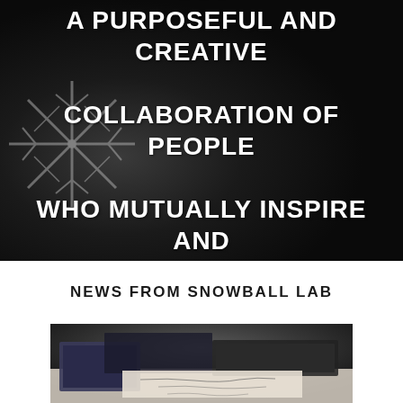[Figure (photo): Dark background with close-up macro photograph of a snowflake crystal, black and white tones. Overlaid with large white uppercase text quote about purposeful and creative collaboration.]
THEY USUALLY EMERGE OUT A PURPOSEFUL AND CREATIVE COLLABORATION OF PEOPLE WHO MUTUALLY INSPIRE AND SUPPORT EACH OTHER.
NEWS FROM SNOWBALL LAB
[Figure (photo): Black and white photograph of a desk with papers, notebooks, and handwritten notes. Close-up of workspace scene.]